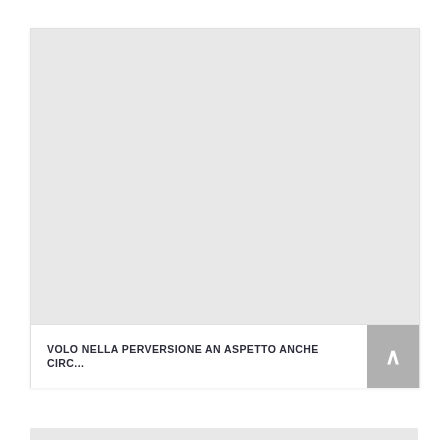[Figure (illustration): Large light gray placeholder image area filling most of the card]
VOLO NELLA PERVERSIONE AN ASPETTO ANCHE CIRC...